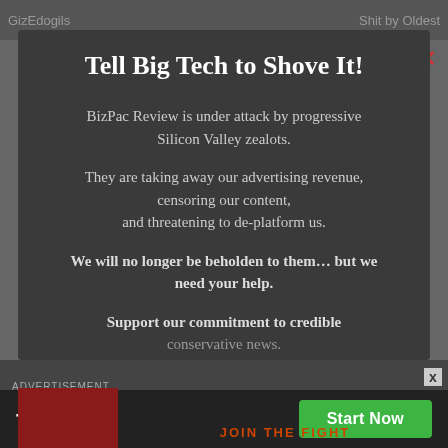GizEdogils  Shit by Oldest
Tell Big Tech to Shove It!
BizPac Review is under attack by progressive Silicon Valley zealots.
They are taking away our advertising revenue, censoring our content, and threatening to de-platform us.
We will no longer be beholden to them… but we need your help.
Support our commitment to credible conservative news.
[Figure (screenshot): Fiverr advertisement banner with logo and Start Now button]
ADVERTISEMENT
JOIN THE FIGHT